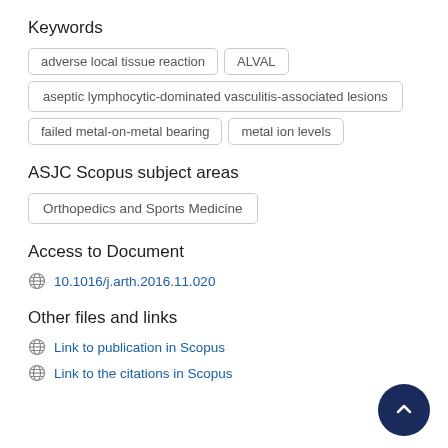Keywords
adverse local tissue reaction
ALVAL
aseptic lymphocytic-dominated vasculitis-associated lesions
failed metal-on-metal bearing
metal ion levels
ASJC Scopus subject areas
Orthopedics and Sports Medicine
Access to Document
10.1016/j.arth.2016.11.020
Other files and links
Link to publication in Scopus
Link to the citations in Scopus